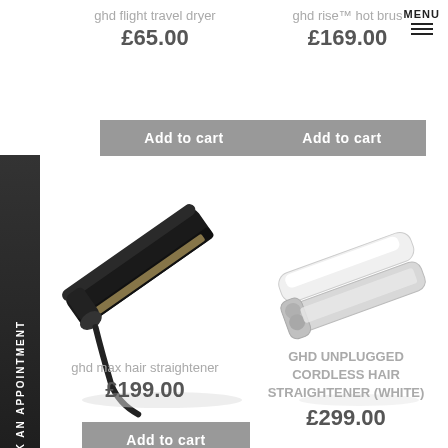MENU
ghd flight travel dryer
£65.00
ghd rise™ hot brus
£169.00
Add to cart
Add to cart
[Figure (photo): ghd max hair straightener in black, shown at an angle]
[Figure (photo): GHD Unplugged cordless hair straightener in white and silver]
ghd max hair straightener
£199.00
GHD UNPLUGGED CORDLESS HAIR STRAIGHTENER (WHITE)
£299.00
Add to cart
BOOK AN APPOINTMENT